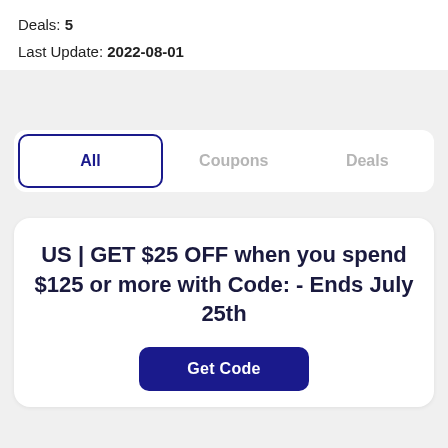Deals: 5
Last Update: 2022-08-01
All | Coupons | Deals
US | GET $25 OFF when you spend $125 or more with Code: - Ends July 25th
Get Code